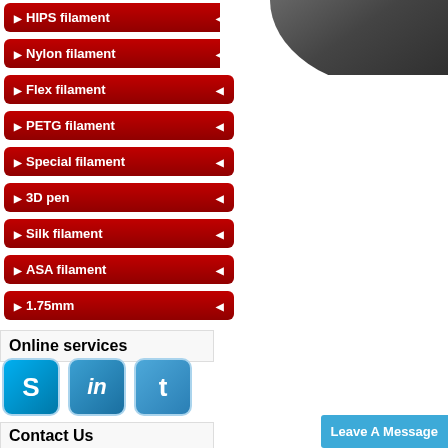HIPS filament
Nylon filament
Flex filament
PETG filament
Special filament
3D pen
Silk filament
ASA filament
1.75mm
[Figure (photo): Dark gray/black filament spool or coil, partial view in upper right corner]
Online services
[Figure (infographic): Social media icons: Skype (S), LinkedIn (in), Twitter (bird)]
Contact Us
[Figure (infographic): Contact icons: phone (orange), fax (purple circle), email (red)]
Leave A Message